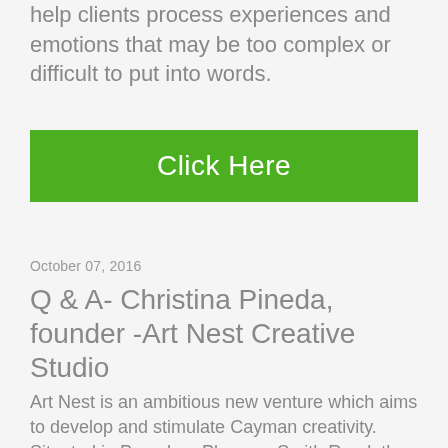help clients process experiences and emotions that may be too complex or difficult to put into words.
[Figure (other): Green 'Click Here' button]
October 07, 2016
Q & A- Christina Pineda, founder -Art Nest Creative Studio
Art Nest is an ambitious new venture which aims to develop and stimulate Cayman creativity. Situated in Pasadora Place on Smith Road, the venue will soon expand to offer 3,000 square feet of artists' studio spaces, teaching and co-working space, as well as event and